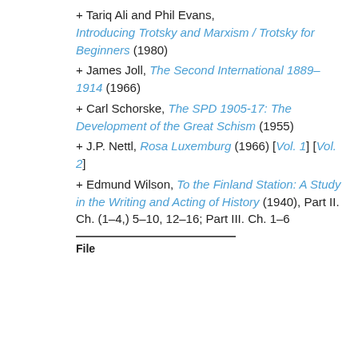+ Tariq Ali and Phil Evans, Introducing Trotsky and Marxism / Trotsky for Beginners (1980)
+ James Joll, The Second International 1889–1914 (1966)
+ Carl Schorske, The SPD 1905-17: The Development of the Great Schism (1955)
+ J.P. Nettl, Rosa Luxemburg (1966) [Vol. 1] [Vol. 2]
+ Edmund Wilson, To the Finland Station: A Study in the Writing and Acting of History (1940), Part II. Ch. (1–4,) 5–10, 12–16; Part III. Ch. 1–6
File